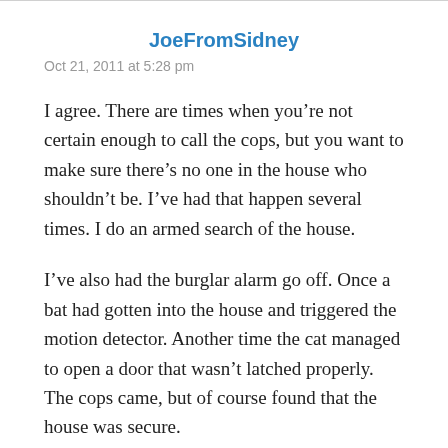JoeFromSidney
Oct 21, 2011 at 5:28 pm
I agree. There are times when you’re not certain enough to call the cops, but you want to make sure there’s no one in the house who shouldn’t be. I’ve had that happen several times. I do an armed search of the house.
I’ve also had the burglar alarm go off. Once a bat had gotten into the house and triggered the motion detector. Another time the cat managed to open a door that wasn’t latched properly. The cops came, but of course found that the house was secure.